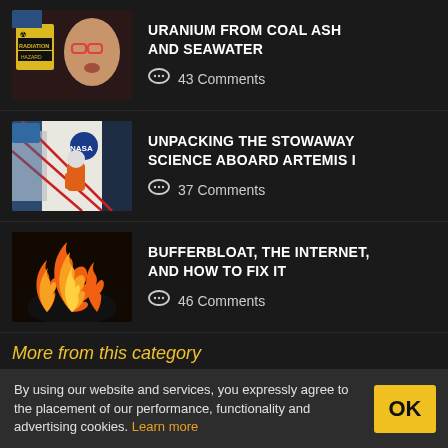[Figure (photo): Thumbnail image of a scientist wearing glasses with a radiation warning sign visible in background]
URANIUM FROM COAL ASH AND SEAWATER
43 Comments
[Figure (illustration): Illustration of an astronaut in orange suit working on the exterior of a NASA spacecraft]
UNPACKING THE STOWAWAY SCIENCE ABOARD ARTEMIS I
37 Comments
[Figure (photo): Photo of large flames and fire, possibly burning router or electronic device]
BUFFERBLOAT, THE INTERNET, AND HOW TO FIX IT
46 Comments
More from this category
By using our website and services, you expressly agree to the placement of our performance, functionality and advertising cookies. Learn more